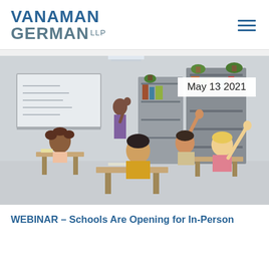VANAMAN GERMAN LLP
[Figure (photo): Classroom photo showing students at desks with hands raised and a teacher at the front near a whiteboard. Bookshelves are visible in the background. Date badge reads 'May 13 2021'.]
May 13 2021
WEBINAR – Schools Are Opening for In-Person